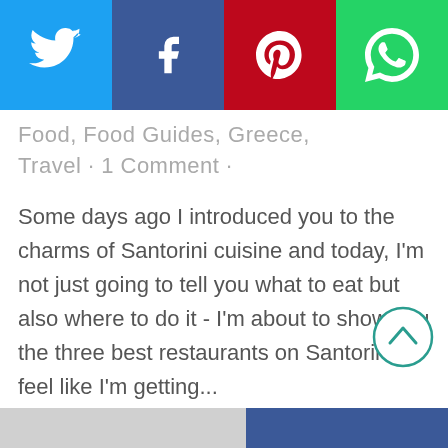[Figure (infographic): Social share bar with four buttons: Twitter (blue), Facebook (dark blue), Pinterest (red), WhatsApp (green), each with their respective icons in white.]
Food, Food Guides, Greece, Travel · 1 Comment ·
Some days ago I introduced you to the charms of Santorini cuisine and today, I'm not just going to tell you what to eat but also where to do it - I'm about to show you the three best restaurants on Santorini! I feel like I'm getting...
READ MORE
[Figure (illustration): Circular scroll-to-top button with an upward arrow, teal outline on white background.]